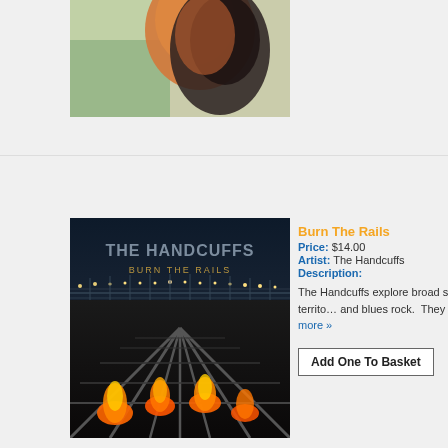[Figure (photo): Partial view of album cover showing colorful hair (orange and dark), cut off at top of page]
[Figure (photo): The Handcuffs - Burn The Rails album cover showing railway tracks with flames against dark moody sky and stadium lights]
Burn The Rails
Price: $14.00
Artist: The Handcuffs
Description:
The Handcuffs explore broad sonic territo… and blues rock.  They read more »
Add One To Basket
[Figure (illustration): Pioneer album cover showing cartoon illustration of a tree with colorful foliage against blue sky]
Pioneer
Price: $15.00
Artist: The Jangles
Description:
With a Bandcamp profile picture slathered… Lynchburg, VA identical twin duo of read…